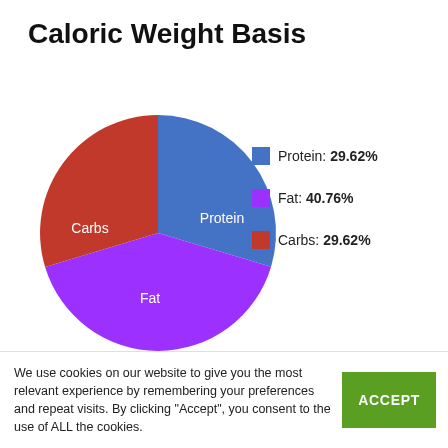Caloric Weight Basis
[Figure (pie-chart): Caloric Weight Basis]
Ingredients We Liked: Fresh MSC whitefish,
We use cookies on our website to give you the most relevant experience by remembering your preferences and repeat visits. By clicking "Accept", you consent to the use of ALL the cookies.